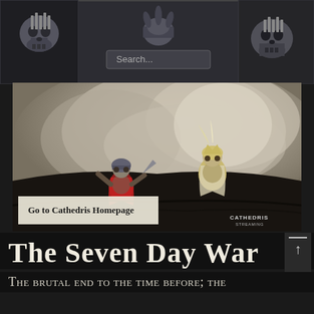[Figure (screenshot): Website header with skull/helmet icons and search bar reading 'Search...']
[Figure (photo): Two warrior/knight figures standing on a dark hill with dramatic smoky clouds behind them. A 'Go to Cathedris Homepage' button overlays the bottom-left. Cathedris watermark at bottom-right.]
The Seven Day War
The brutal end to the time before; the